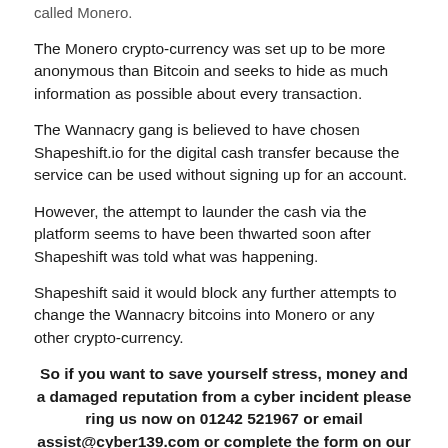called Monero.
The Monero crypto-currency was set up to be more anonymous than Bitcoin and seeks to hide as much information as possible about every transaction.
The Wannacry gang is believed to have chosen Shapeshift.io for the digital cash transfer because the service can be used without signing up for an account.
However, the attempt to launder the cash via the platform seems to have been thwarted soon after Shapeshift was told what was happening.
Shapeshift said it would block any further attempts to change the Wannacry bitcoins into Monero or any other crypto-currency.
So if you want to save yourself stress, money and a damaged reputation from a cyber incident please ring us now on 01242 521967 or email assist@cyber139.com or complete the form on our